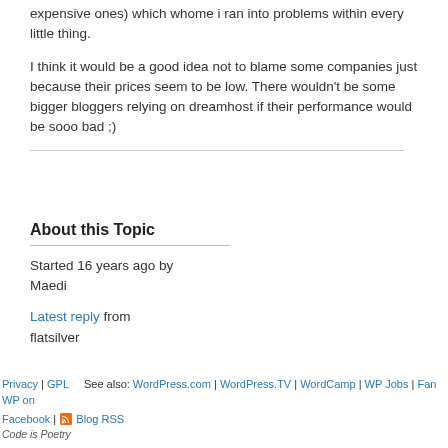expensive ones) which whome i ran into problems within every little thing.
I think it would be a good idea not to blame some companies just because their prices seem to be low. There wouldn't be some bigger bloggers relying on dreamhost if their performance would be sooo bad ;)
About this Topic
Started 16 years ago by Maedi
Latest reply from flatsilver
Privacy | GPL   See also: WordPress.com | WordPress.TV | WordCamp | WP Jobs | Fan WP on Facebook | Blog RSS
Code is Poetry